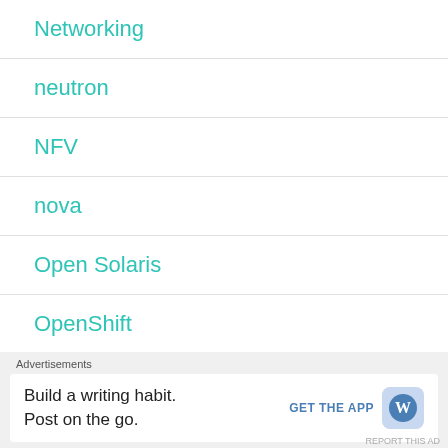Networking
neutron
NFV
nova
Open Solaris
OpenShift
OpenStack
Advertisements
Build a writing habit. Post on the go. GET THE APP